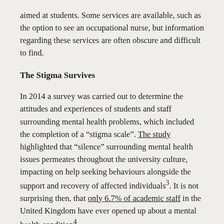aimed at students. Some services are available, such as the option to see an occupational nurse, but information regarding these services are often obscure and difficult to find.
The Stigma Survives
In 2014 a survey was carried out to determine the attitudes and experiences of students and staff surrounding mental health problems, which included the completion of a “stigma scale”. The study highlighted that “silence” surrounding mental health issues permeates throughout the university culture, impacting on help seeking behaviours alongside the support and recovery of affected individuals³. It is not surprising then, that only 6.7% of academic staff in the United Kingdom have ever opened up about a mental health condition⁴